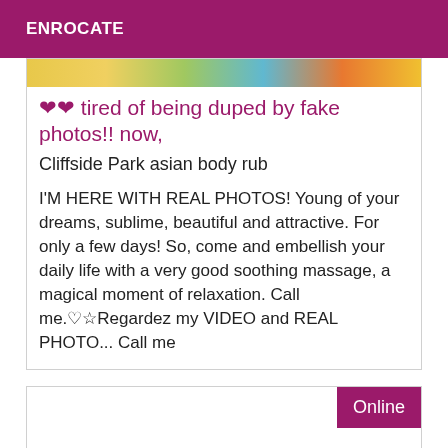ENROCATE
[Figure (photo): Partial image strip visible at top of listing card, showing colorful clothing or fabric]
❤❤ tired of being duped by fake photos!! now,
Cliffside Park asian body rub
I'M HERE WITH REAL PHOTOS! Young of your dreams, sublime, beautiful and attractive. For only a few days! So, come and embellish your daily life with a very good soothing massage, a magical moment of relaxation. Call me.♡☆Regardez my VIDEO and REAL PHOTO... Call me
Online